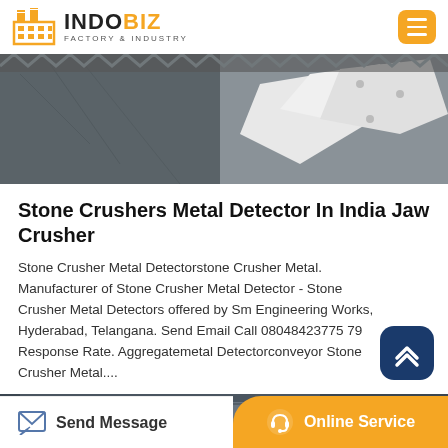INDOBIZ FACTORY & INDUSTRY
[Figure (photo): Industrial metal crusher/detector parts — metallic and white angular components on dark background with zigzag pattern border]
Stone Crushers Metal Detector In India Jaw Crusher
Stone Crusher Metal Detectorstone Crusher Metal. Manufacturer of Stone Crusher Metal Detector - Stone Crusher Metal Detectors offered by Sm Engineering Works, Hyderabad, Telangana. Send Email Call 08048423775 79 Response Rate. Aggregatemetal Detectorconveyor Stone Crusher Metal....
[Figure (photo): Industrial conveyor or crusher machinery — metallic cylindrical parts visible]
Send Message | Online Service